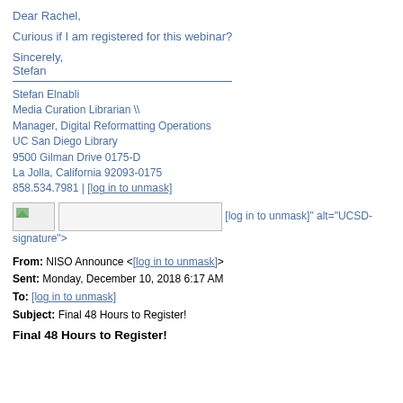Dear Rachel,
Curious if I am registered for this webinar?
Sincerely,
Stefan
Stefan Elnabli
Media Curation Librarian \\
Manager, Digital Reformatting Operations
UC San Diego Library
9500 Gilman Drive 0175-D
La Jolla, California 92093-0175
858.534.7981 | [log in to unmask]
[Figure (other): Broken image placeholder followed by text: [log in to unmask]" alt="UCSD-signature">]
From: NISO Announce <[log in to unmask]>
Sent: Monday, December 10, 2018 6:17 AM
To: [log in to unmask]
Subject: Final 48 Hours to Register!
Final 48 Hours to Register!